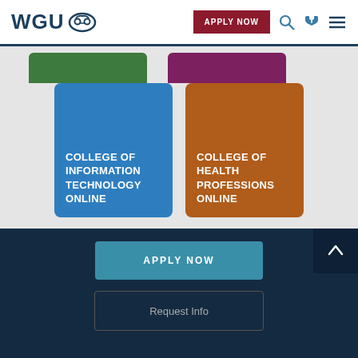[Figure (logo): WGU logo with owl icon]
APPLY NOW
[Figure (illustration): Two partially visible colored tab headers: green and purple]
[Figure (illustration): Two college cards: blue card for College of Information Technology Online, orange card for College of Health Professions Online]
COLLEGE OF INFORMATION TECHNOLOGY ONLINE
COLLEGE OF HEALTH PROFESSIONS ONLINE
Want to see all the degrees WGU has to offer? View all degrees
APPLY NOW
Request Info